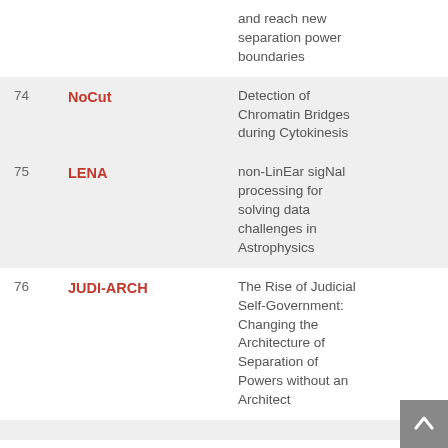| # | Name | Description |
| --- | --- | --- |
|  |  | and reach new separation power boundaries |
| 74 | NoCut | Detection of Chromatin Bridges during Cytokinesis |
| 75 | LENA | non-LinEar sigNal processing for solving data challenges in Astrophysics |
| 76 | JUDI-ARCH | The Rise of Judicial Self-Government: Changing the Architecture of Separation of Powers without an Architect |